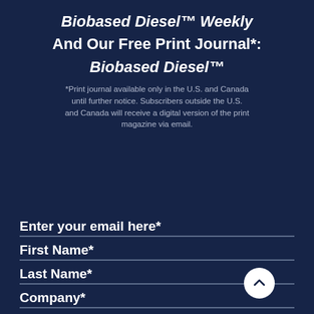Biobased Diesel™ Weekly And Our Free Print Journal*: Biobased Diesel™
*Print journal available only in the U.S. and Canada until further notice. Subscribers outside the U.S. and Canada will receive a digital version of the print magazine via email.
Enter your email here*
First Name*
Last Name*
Company*